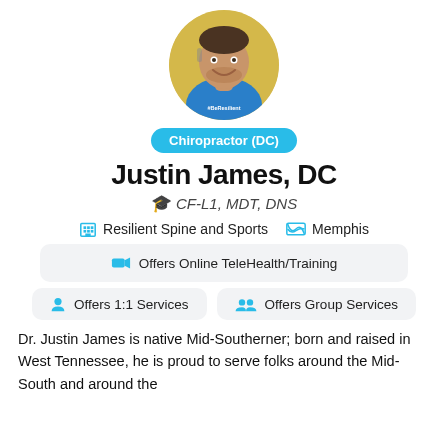[Figure (photo): Circular profile photo of Justin James DC, a man in a blue shirt with '#BeResilient' text, smiling, with a yellow/gold background]
Chiropractor (DC)
Justin James, DC
CF-L1, MDT, DNS
Resilient Spine and Sports   Memphis
Offers Online TeleHealth/Training
Offers 1:1 Services
Offers Group Services
Dr. Justin James is native Mid-Southerner; born and raised in West Tennessee, he is proud to serve folks around the Mid-South and around the